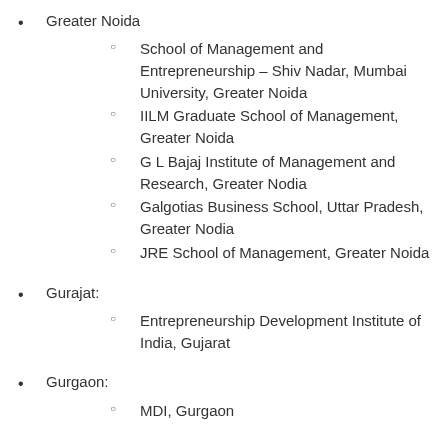Greater Noida
School of Management and Entrepreneurship – Shiv Nadar, Mumbai University, Greater Noida
IILM Graduate School of Management, Greater Noida
G L Bajaj Institute of Management and Research, Greater Nodia
Galgotias Business School, Uttar Pradesh, Greater Nodia
JRE School of Management, Greater Noida
Gurajat:
Entrepreneurship Development Institute of India, Gujarat
Gurgaon:
MDI, Gurgaon